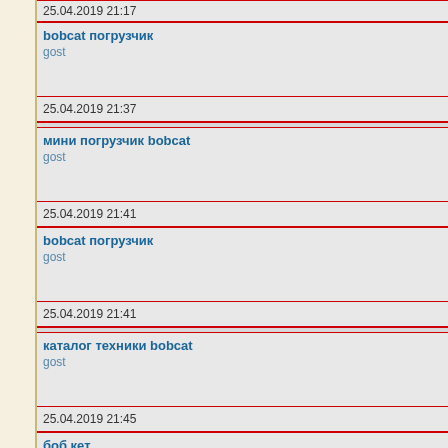25.04.2019 21:17
bobcat погрузчик
gost
25.04.2019 21:37
мини погрузчик bobcat
gost
25.04.2019 21:41
bobcat погрузчик
gost
25.04.2019 21:41
каталог техники bobcat
gost
25.04.2019 21:45
боб кет
gost